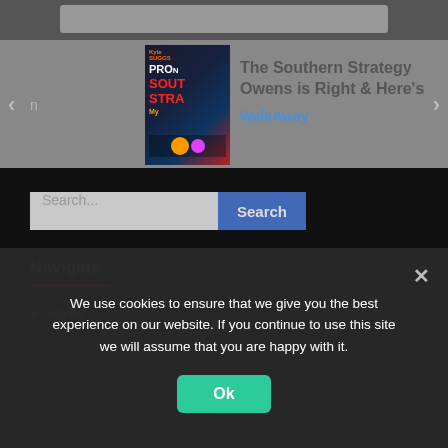[Figure (screenshot): Carousel widget showing a book thumbnail for 'The Southern Strategy' by Kyle Suggs with navigation arrows and text.]
The Southern Strategy
Owens is Right & Here's
WalkAway
[Figure (screenshot): Website footer area with dark background containing a search bar and navigation section.]
Search...
Search
Navigate
Home
We use cookies to ensure that we give you the best experience on our website. If you continue to use this site we will assume that you are happy with it.
Ok